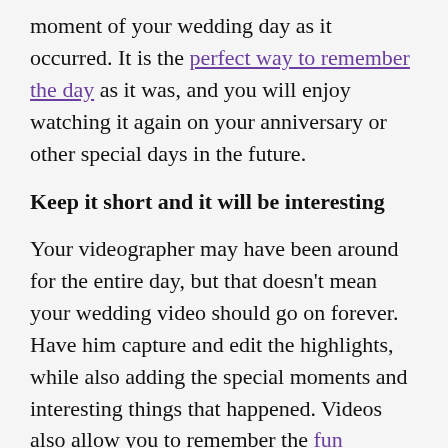moment of your wedding day as it occurred. It is the perfect way to remember the day as it was, and you will enjoy watching it again on your anniversary or other special days in the future.
Keep it short and it will be interesting
Your videographer may have been around for the entire day, but that doesn't mean your wedding video should go on forever. Have him capture and edit the highlights, while also adding the special moments and interesting things that happened. Videos also allow you to remember the fun moments on the day, like the jokes you shared with your bridesmaids as you dressed up. Another factor is that it is almost impossible to get your video wrong. While the quality of your photographs depend on how talented your photographer is, you can be certain that your videos will cover it and make up for anything your photographer may